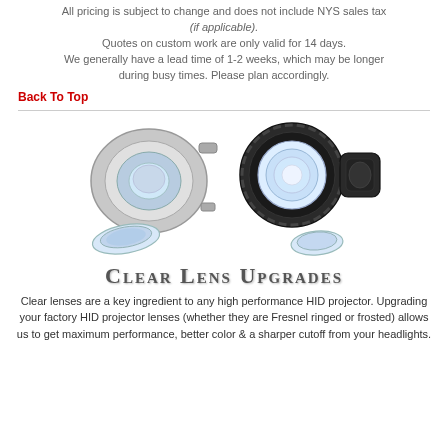All pricing is subject to change and does not include NYS sales tax (if applicable). Quotes on custom work are only valid for 14 days. We generally have a lead time of 1-2 weeks, which may be longer during busy times. Please plan accordingly.
Back To Top
[Figure (photo): Two automotive HID projector lens assemblies disassembled, showing housing, shroud, and clear lens components on white background]
Clear Lens Upgrades
Clear lenses are a key ingredient to any high performance HID projector. Upgrading your factory HID projector lenses (whether they are Fresnel ringed or frosted) allows us to get maximum performance, better color & a sharper cutoff from your headlights.